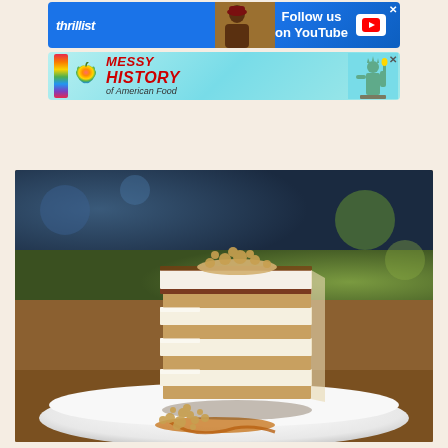[Figure (illustration): Thrillist 'Follow us on YouTube' advertisement banner with blue background, Thrillist logo in italic white text, a photo of a person kissing an animal, and a white YouTube play button]
[Figure (illustration): Apple Podcasts advertisement for 'Messy History of American Food' with teal/cyan background, rainbow bar, Apple logo, red bold italic title text, and Statue of Liberty image]
[Figure (photo): Close-up food photograph of a tall layered dessert (tiramisu or icebox cake slice) with alternating cream and cookie/biscuit layers, dusted cocoa on top, served on a white plate with crumbled garnish and caramel sauce, blurred background with warm bokeh]